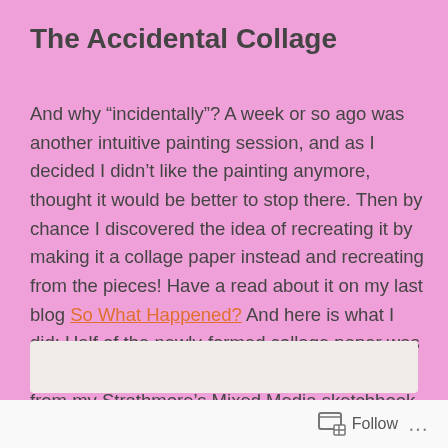The Accidental Collage
And why “incidentally”? A week or so ago was another intuitive painting session, and as I decided I didn’t like the painting anymore, thought it would be better to stop there. Then by chance I discovered the idea of recreating it by making it a collage paper instead and recreating from the pieces! Have a read about it on my last blog So What Happened? And here is what I did: Half of the newly-formed collage paper was glued with some acrylic medium onto a page from my Strathmore’s Mixed Media sketchbook. The other half will be used at a later painting.
[Figure (photo): Partial view of a photo/image at bottom of page, truncated]
Follow ...